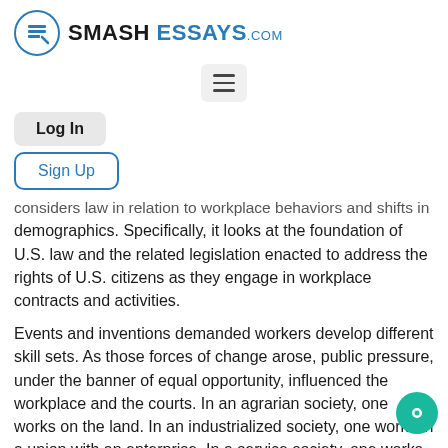[Figure (logo): SmashEssays.com logo with circular icon and text]
[Figure (other): Hamburger menu button (three horizontal lines)]
Log In
Sign Up
considers law in relation to workplace behaviors and shifts in demographics. Specifically, it looks at the foundation of U.S. law and the related legislation enacted to address the rights of U.S. citizens as they engage in workplace contracts and activities.
Events and inventions demanded workers develop different skill sets. As those forces of change arose, public pressure, under the banner of equal opportunity, influenced the workplace and the courts. In an agrarian society, one works on the land. In an industrialized society, one works in a union with an enterprise. In a service society, one works in relationship with other people.